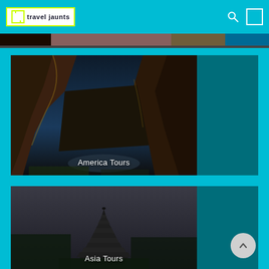[Figure (logo): Travel Jaunts logo with camera bracket icon and text]
[Figure (photo): Partial top strip of a colorful travel image cropped at top of page]
[Figure (photo): America Tours card - Canyon landscape at dusk with 'America Tours' text overlay and teal sidebar]
[Figure (photo): Asia Tours card - Balinese tiered temple pagoda against grey sky with 'Asia Tours' text overlay and teal sidebar]
[Figure (other): Scroll-to-top circular button with upward chevron]